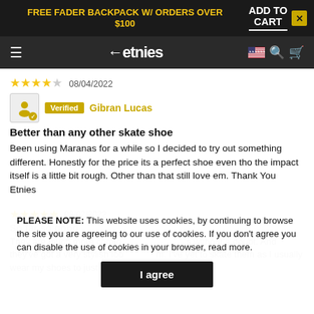FREE FADER BACKPACK W/ ORDERS OVER $100   ADD TO CART ✕
[Figure (screenshot): Etnies website navigation bar with logo, hamburger menu, US flag, search and cart icons]
★★★★☆ 08/04/2022
Verified  Gibran Lucas
Better than any other skate shoe
Been using Maranas for a while so I decided to try out something different. Honestly for the price its a perfect shoe even tho the impact itself is a little bit rough. Other than that still love em. Thank You Etnies
★★★★★ 08/02/2022
PLEASE NOTE: This website uses cookies, by continuing to browse the site you are agreeing to our use of cookies. If you don't agree you can disable the use of cookies in your browser, read more.
I agree
So far so good
They are much more comfortable than shoes without a doubt. And they've got a very stylish look on them. I've yet to skate them as I usually wear my shoes to just kick it in before skating.